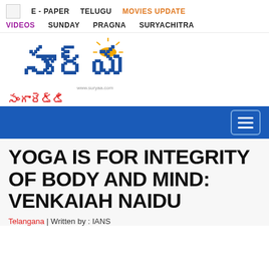E - PAPER  TELUGU  MOVIES UPDATE  VIDEOS  SUNDAY  PRAGNA  SURYACHITRA
[Figure (logo): Surya Telugu newspaper logo with Telugu script text and www.suryaa.com URL, with red Telugu text 'Sangareddy' below]
YOGA IS FOR INTEGRITY OF BODY AND MIND: VENKAIAH NAIDU
Telangana | Written by : IANS